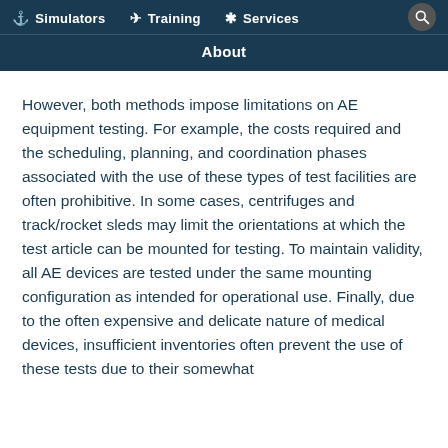Simulators   Training   Services   About
However, both methods impose limitations on AE equipment testing. For example, the costs required and the scheduling, planning, and coordination phases associated with the use of these types of test facilities are often prohibitive. In some cases, centrifuges and track/rocket sleds may limit the orientations at which the test article can be mounted for testing. To maintain validity, all AE devices are tested under the same mounting configuration as intended for operational use. Finally, due to the often expensive and delicate nature of medical devices, insufficient inventories often prevent the use of these tests due to their somewhat